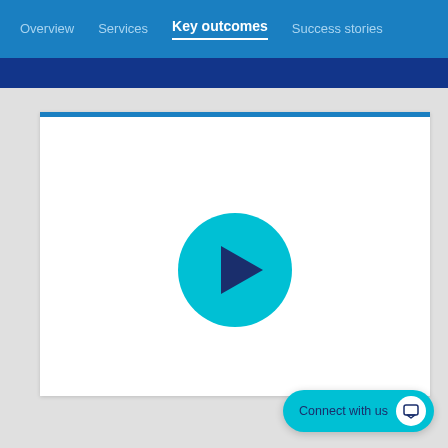Overview | Services | Key outcomes | Success stories
[Figure (screenshot): Video player with cyan play button circle centered on white card with blue top border]
Connect with us